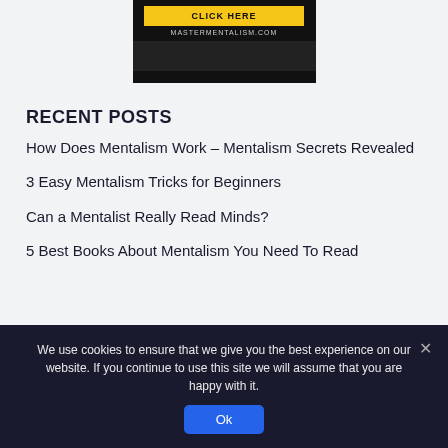[Figure (screenshot): Dark banner advertisement for MasterMentalism.com with a yellow 'CLICK HERE' button and the website URL in light text on a dark background.]
RECENT POSTS
How Does Mentalism Work – Mentalism Secrets Revealed
3 Easy Mentalism Tricks for Beginners
Can a Mentalist Really Read Minds?
5 Best Books About Mentalism You Need To Read
We use cookies to ensure that we give you the best experience on our website. If you continue to use this site we will assume that you are happy with it.